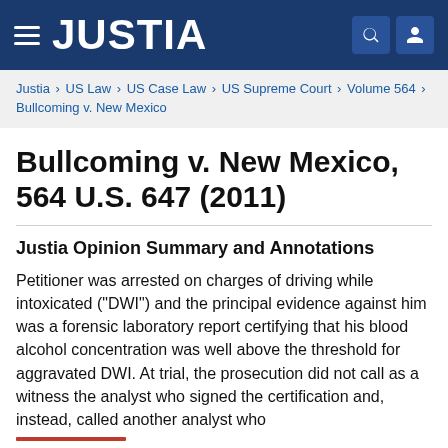JUSTIA
Justia › US Law › US Case Law › US Supreme Court › Volume 564 › Bullcoming v. New Mexico
Bullcoming v. New Mexico, 564 U.S. 647 (2011)
Justia Opinion Summary and Annotations
Petitioner was arrested on charges of driving while intoxicated ("DWI") and the principal evidence against him was a forensic laboratory report certifying that his blood alcohol concentration was well above the threshold for aggravated DWI. At trial, the prosecution did not call as a witness the analyst who signed the certification and, instead, called another analyst who